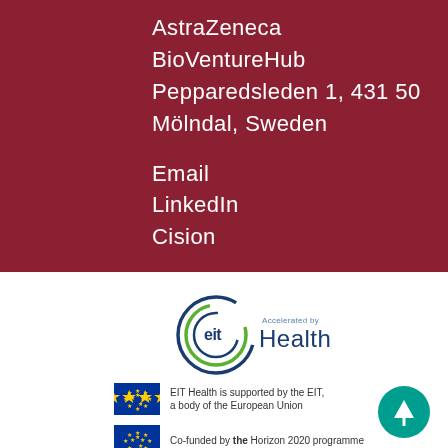AstraZeneca
BioVentureHub
Pepparedsleden 1, 431 50
Mölndal, Sweden
Email
LinkedIn
Cision
[Figure (logo): EIT Health 'Accelerated by' logo with green circular design and blue text]
EIT Health is supported by the EIT, a body of the European Union
Co-funded by the Horizon 2020 programme